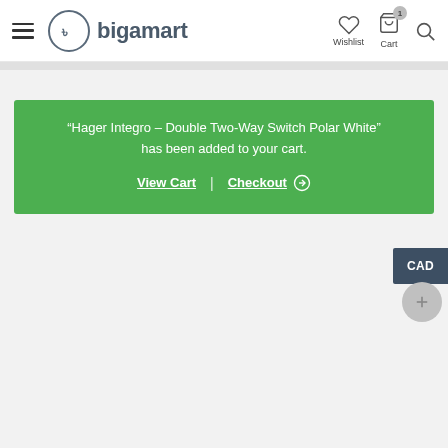bigamart header with hamburger menu, wishlist, cart (1 item), and search
“Hager Integro – Double Two-Way Switch Polar White” has been added to your cart.
View Cart | Checkout